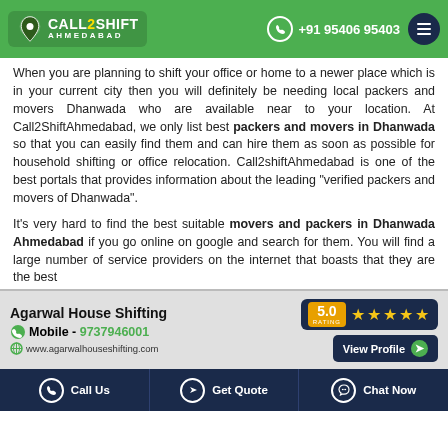Call2Shift Ahmedabad | +91 95406 95403
When you are planning to shift your office or home to a newer place which is in your current city then you will definitely be needing local packers and movers Dhanwada who are available near to your location. At Call2ShiftAhmedabad, we only list best packers and movers in Dhanwada so that you can easily find them and can hire them as soon as possible for household shifting or office relocation. Call2shiftAhmedabad is one of the best portals that provides information about the leading "verified packers and movers of Dhanwada".
It's very hard to find the best suitable movers and packers in Dhanwada Ahmedabad if you go online on google and search for them. You will find a large number of service providers on the internet that boasts that they are the best
[Figure (infographic): Ad card for Agarwal House Shifting with 5.0 star rating, mobile number 9737946001, website www.agarwalhouseshifting.com, and View Profile button]
Call Us | Get Quote | Chat Now